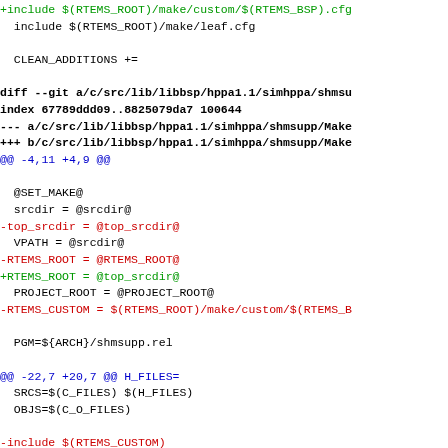diff --git code block showing changes to hppa1.1/simhppa/shmsupp/Makefile